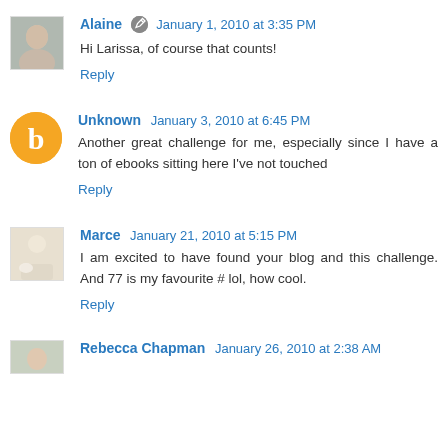Alaine January 1, 2010 at 3:35 PM
Hi Larissa, of course that counts!
Reply
Unknown January 3, 2010 at 6:45 PM
Another great challenge for me, especially since I have a ton of ebooks sitting here I've not touched
Reply
Marce January 21, 2010 at 5:15 PM
I am excited to have found your blog and this challenge. And 77 is my favourite # lol, how cool.
Reply
Rebecca Chapman January 26, 2010 at 2:38 AM